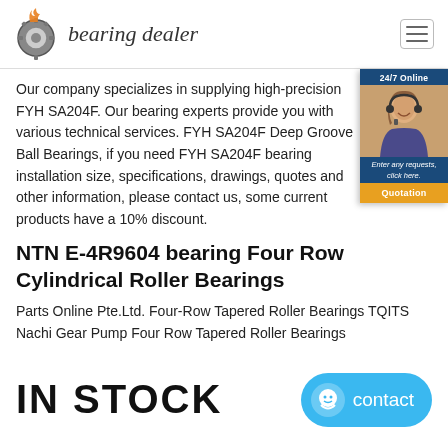bearing dealer
Our company specializes in supplying high-precision FYH SA204F. Our bearing experts provide you with various technical services. FYH SA204F Deep Groove Ball Bearings, if you need FYH SA204F bearing installation size, specifications, drawings, quotes and other information, please contact us, some current products have a 10% discount.
[Figure (photo): Customer service representative with headset, 24/7 Online widget with quotation button]
NTN E-4R9604 bearing Four Row Cylindrical Roller Bearings
Parts Online Pte.Ltd. Four-Row Tapered Roller Bearings TQITS Nachi Gear Pump Four Row Tapered Roller Bearings
IN STOCK